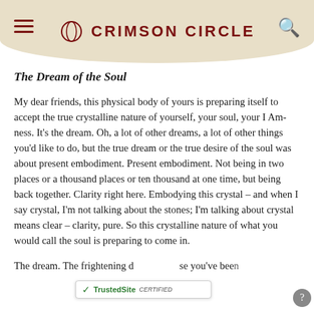CRIMSON CIRCLE
The Dream of the Soul
My dear friends, this physical body of yours is preparing itself to accept the true crystalline nature of yourself, your soul, your I Am-ness. It’s the dream. Oh, a lot of other dreams, a lot of other things you’d like to do, but the true dream or the true desire of the soul was about present embodiment. Present embodiment. Not being in two places or a thousand places or ten thousand at one time, but being back together. Clarity right here. Embodying this crystal – and when I say crystal, I’m not talking about the stones; I’m talking about crystal means clear – clarity, pure. So this crystalline nature of what you would call the soul is preparing to come in.
The dream. The frightening d… se you’ve bee… pursuing it. You’ve been awa… … Marin…